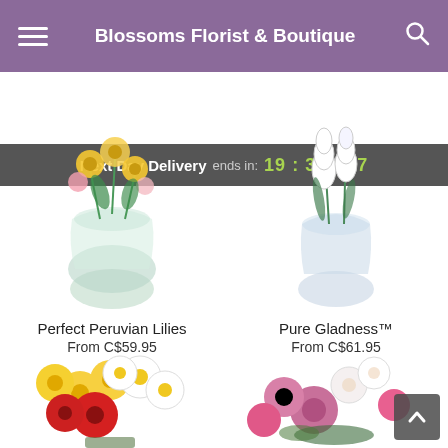Blossoms Florist & Boutique
Next Day Delivery ends in: 19 : 35 : 37
[Figure (photo): Flower arrangement: Perfect Peruvian Lilies in a round glass vase with yellow and pink flowers and green stems]
Perfect Peruvian Lilies
From C$59.95
[Figure (photo): Flower arrangement: Pure Gladness in a glass vase with white gladiolus flowers and green foliage]
Pure Gladness™
From C$61.95
[Figure (photo): Colorful flower bouquet with yellow daisies, white daisies, and red gerbera daisies in a glass vase]
[Figure (photo): Pink and white flower arrangement with roses, carnations, and alstroemeria]